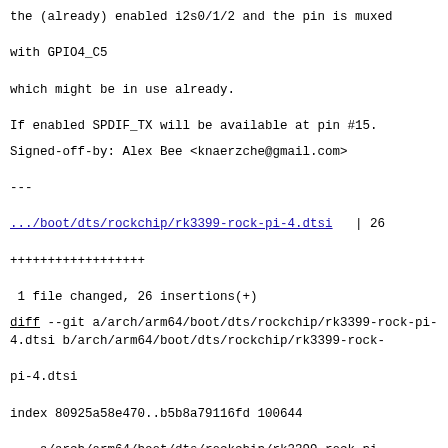the (already) enabled i2s0/1/2 and the pin is muxed
with GPIO4_C5
which might be in use already.
If enabled SPDIF_TX will be available at pin #15.
Signed-off-by: Alex Bee <knaerzche@gmail.com>
---
.../boot/dts/rockchip/rk3399-rock-pi-4.dtsi   | 26
++++++++++++++++++
 1 file changed, 26 insertions(+)
diff --git a/arch/arm64/boot/dts/rockchip/rk3399-rock-pi-4.dtsi b/arch/arm64/boot/dts/rockchip/rk3399-rock-pi-4.dtsi
index 80925a58e470..b5b8a79116fd 100644
--- a/arch/arm64/boot/dts/rockchip/rk3399-rock-pi-4.dtsi
+++ b/arch/arm64/boot/dts/rockchip/rk3399-rock-pi-4.dtsi
@@ -42,6 +42,23 @@ sound {
                dais = <&i2s0_p0>;
        };

+       sound-dit {
+               compatible = "audio-graph-card";
+               label = "SPDIF";
+               dais = <&spdif_p0>;
+       };
+
+       spdif-dit {